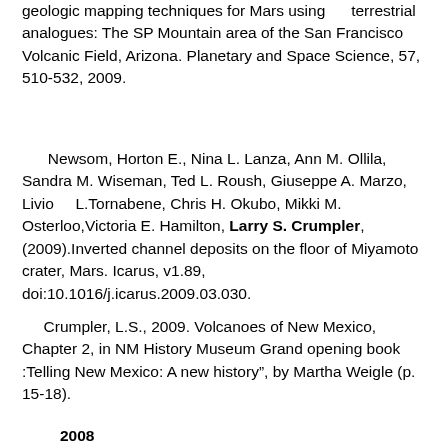geologic mapping techniques for Mars using terrestrial analogues: The SP Mountain area of the San Francisco Volcanic Field, Arizona. Planetary and Space Science, 57, 510-532, 2009.
Newsom, Horton E., Nina L. Lanza, Ann M. Ollila, Sandra M. Wiseman, Ted L. Roush, Giuseppe A. Marzo, Livio L.Tornabene, Chris H. Okubo, Mikki M. Osterloo,Victoria E. Hamilton, Larry S. Crumpler, (2009).Inverted channel deposits on the floor of Miyamoto crater, Mars. Icarus, v1.89, doi:10.1016/j.icarus.2009.03.030.
Crumpler, L.S., 2009. Volcanoes of New Mexico, Chapter 2, in NM History Museum Grand opening book :Telling New Mexico: A new history", by Martha Weigle (p. 15-18).
2008